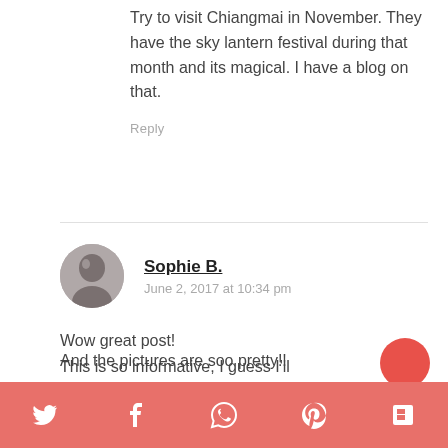Try to visit Chiangmai in November. They have the sky lantern festival during that month and its magical. I have a blog on that.
Reply
Sophie B.
June 2, 2017 at 10:34 pm
Wow great post! This is so informative, I guess I'll need this information and tips when I'm going to Thailand in november ;)! And the pictures are soo pretty!!
Twitter Facebook WhatsApp Pinterest Flipboard